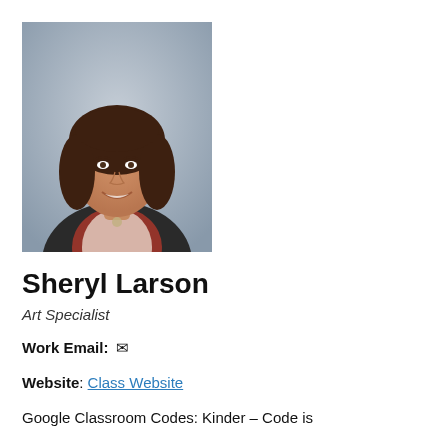[Figure (photo): Headshot photo of Sheryl Larson, a woman with shoulder-length wavy dark brown hair, smiling, wearing a plaid shirt and dark blazer, against a grey/blue background.]
Sheryl Larson
Art Specialist
Work Email: [envelope icon]
Website: Class Website
Google Classroom Codes: Kinder – Code is